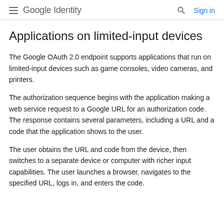Google Identity  Sign in
Applications on limited-input devices
The Google OAuth 2.0 endpoint supports applications that run on limited-input devices such as game consoles, video cameras, and printers.
The authorization sequence begins with the application making a web service request to a Google URL for an authorization code. The response contains several parameters, including a URL and a code that the application shows to the user.
The user obtains the URL and code from the device, then switches to a separate device or computer with richer input capabilities. The user launches a browser, navigates to the specified URL, logs in, and enters the code.